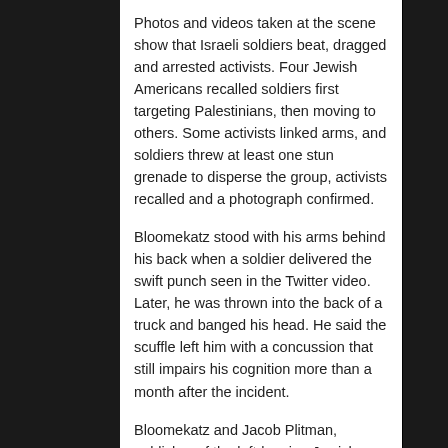Photos and videos taken at the scene show that Israeli soldiers beat, dragged and arrested activists. Four Jewish Americans recalled soldiers first targeting Palestinians, then moving to others. Some activists linked arms, and soldiers threw at least one stun grenade to disperse the group, activists recalled and a photograph confirmed.
Bloomekatz stood with his arms behind his back when a soldier delivered the swift punch seen in the Twitter video. Later, he was thrown into the back of a truck and banged his head. He said the scuffle left him with a concussion that still impairs his cognition more than a month after the incident.
Bloomekatz and Jacob Plitman, publisher of the left-leaning Jewish Currents magazine, both said they witnessed soldiers beat a Palestinian minor, who begged them to stop.
Israeli police and soldiers ultimately arrested 17 Israeli,